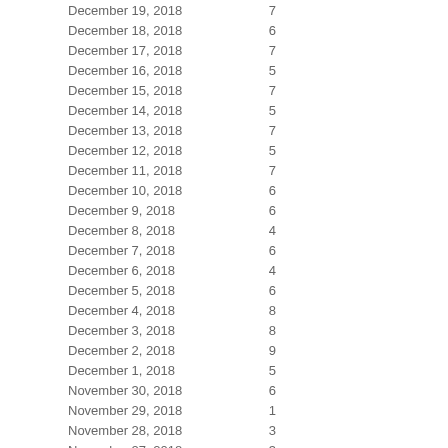| Date | Value |
| --- | --- |
| December 19, 2018 | 7 |
| December 18, 2018 | 6 |
| December 17, 2018 | 7 |
| December 16, 2018 | 5 |
| December 15, 2018 | 7 |
| December 14, 2018 | 5 |
| December 13, 2018 | 7 |
| December 12, 2018 | 5 |
| December 11, 2018 | 7 |
| December 10, 2018 | 6 |
| December 9, 2018 | 6 |
| December 8, 2018 | 4 |
| December 7, 2018 | 6 |
| December 6, 2018 | 4 |
| December 5, 2018 | 6 |
| December 4, 2018 | 8 |
| December 3, 2018 | 8 |
| December 2, 2018 | 9 |
| December 1, 2018 | 5 |
| November 30, 2018 | 6 |
| November 29, 2018 | 1 |
| November 28, 2018 | 3 |
| November 27, 2018 | 3 |